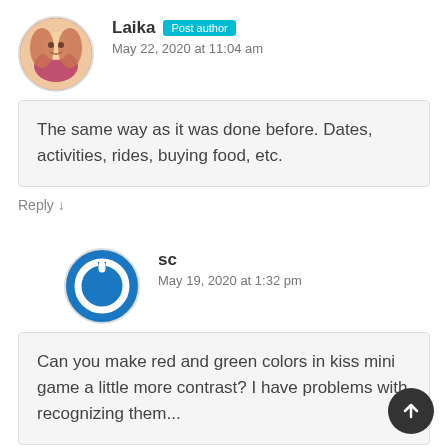Laika Post author
May 22, 2020 at 11:04 am
The same way as it was done before. Dates, activities, rides, buying food, etc.
Reply ↓
sc
May 19, 2020 at 1:32 pm
Can you make red and green colors in kiss mini game a little more contrast? I have problems with recognizing them...
Reply ↓